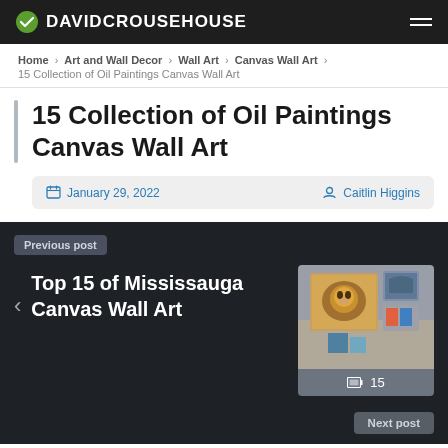DAVIDCROUSEHOUSE
Home > Art and Wall Decor > Wall Art > Canvas Wall Art > 15 Collection of Oil Paintings Canvas Wall Art
15 Collection of Oil Paintings Canvas Wall Art
January 29, 2022  Caitlin Higgins
Previous post
Top 15 of Mississauga Canvas Wall Art
[Figure (photo): Thumbnail image of canvas wall art featuring a lion and other framed artwork displayed on a surface]
15
Next post